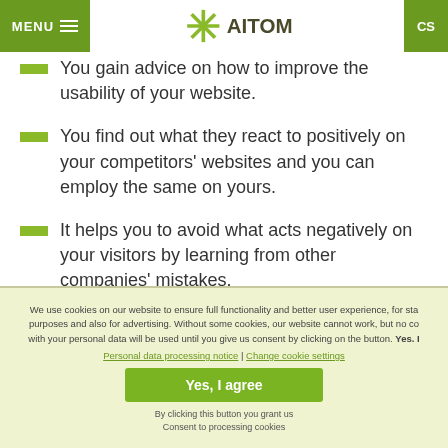MENU | AITOM | CS
You gain advice on how to improve the usability of your website.
You find out what they react to positively on your competitors' websites and you can employ the same on yours.
It helps you to avoid what acts negatively on your visitors by learning from other companies' mistakes.
We use cookies on our website to ensure full functionality and better user experience, for sta... purposes and also for advertising. Without some cookies, our website cannot work, but no co... with your personal data will be used until you give us consent by clicking on the button. Yes. I... Personal data processing notice | Change cookie settings
Yes, I agree
By clicking this button you grant us Consent to processing cookies